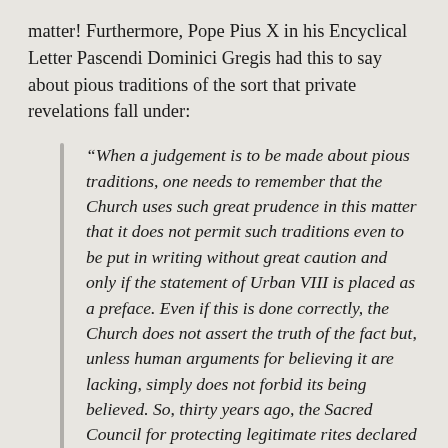matter! Furthermore, Pope Pius X in his Encyclical Letter Pascendi Dominici Gregis had this to say about pious traditions of the sort that private revelations fall under:
“When a judgement is to be made about pious traditions, one needs to remember that the Church uses such great prudence in this matter that it does not permit such traditions even to be put in writing without great caution and only if the statement of Urban VIII is placed as a preface. Even if this is done correctly, the Church does not assert the truth of the fact but, unless human arguments for believing it are lacking, simply does not forbid its being believed. So, thirty years ago, the Sacred Council for protecting legitimate rites declared (Decree of May 2, 1877).” [Pope Pius X: Pascendi Dominici